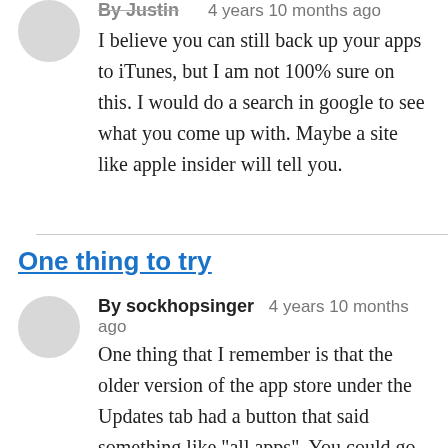By Justin   4 years 10 months ago
I believe you can still back up your apps to iTunes, but I am not 100% sure on this. I would do a search in google to see what you come up with. Maybe a site like apple insider will tell you.
One thing to try
By sockhopsinger   4 years 10 months ago
One thing that I remember is that the older version of the app store under the Updates tab had a button that said something like "all apps". You could go under there to view every app you had purchased under your AppleID. That may